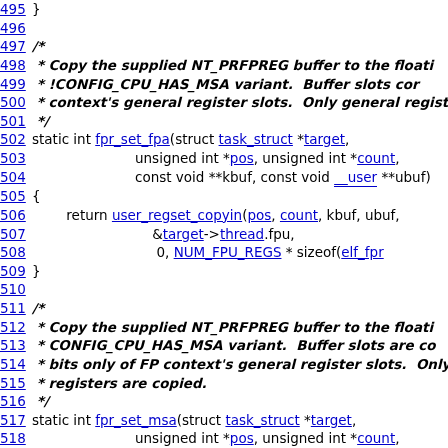495 }
496
497 /*
498  * Copy the supplied NT_PRFPREG buffer to the floati...
499  * !CONFIG_CPU_HAS_MSA variant.  Buffer slots cor...
500  * context's general register slots.  Only general regist...
501  */
502 static int fpr_set_fpa(struct task_struct *target,
503                         unsigned int *pos, unsigned int *count,
504                         const void **kbuf, const void __user **ubuf)
505 {
506         return user_regset_copyin(pos, count, kbuf, ubuf,
507                                    &target->thread.fpu,
508                                     0, NUM_FPU_REGS * sizeof(elf_fpr...
509 }
510
511 /*
512  * Copy the supplied NT_PRFPREG buffer to the floati...
513  * CONFIG_CPU_HAS_MSA variant.  Buffer slots are co...
514  * bits only of FP context's general register slots.  Only...
515  * registers are copied.
516  */
517 static int fpr_set_msa(struct task_struct *target,
518                         unsigned int *pos, unsigned int *count,
519                         const void **kbuf, const void __user **ubuf)